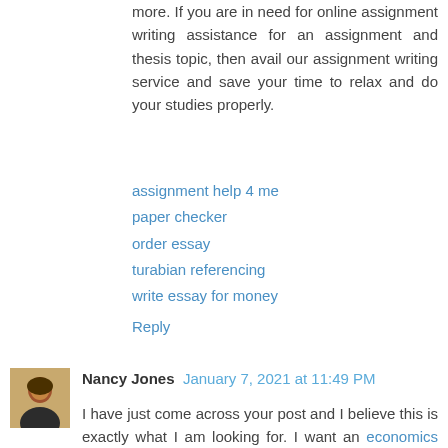more. If you are in need for online assignment writing assistance for an assignment and thesis topic, then avail our assignment writing service and save your time to relax and do your studies properly.
assignment help 4 me
paper checker
order essay
turabian referencing
write essay for money
Reply
Nancy Jones  January 7, 2021 at 11:49 PM
I have just come across your post and I believe this is exactly what I am looking for. I want an economics assignment help from a tutor who can guarantee me a top grade. Do you charge per page or does it depend on the bulk of the economics homework help being completed? More to that if the work is not good enough do you offer free corrections.